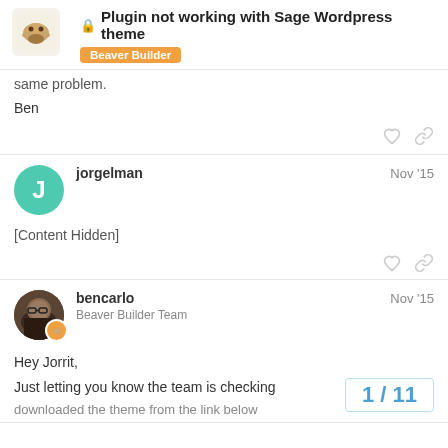Plugin not working with Sage Wordpress theme — Beaver Builder
same problem.
Ben
jorgelman  Nov '15
[Content Hidden]
bencarlo  Beaver Builder Team  Nov '15
Hey Jorrit,
Just letting you know the team is checking downloaded the theme from the link below
1/11